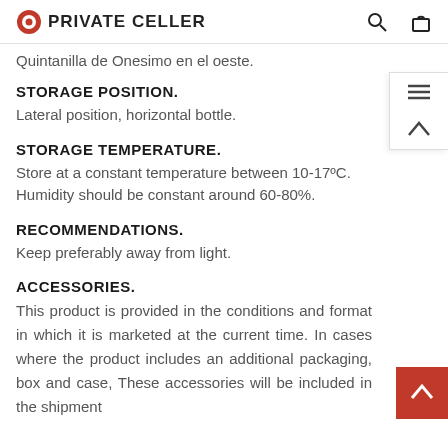PRIVATE CELLER
Quintanilla de Onesimo en el oeste.
STORAGE POSITION.
Lateral position, horizontal bottle.
STORAGE TEMPERATURE.
Store at a constant temperature between 10-17ºC. Humidity should be constant around 60-80%.
RECOMMENDATIONS.
Keep preferably away from light.
ACCESSORIES.
This product is provided in the conditions and format in which it is marketed at the current time. In cases where the product includes an additional packaging, box and case, These accessories will be included in the shipment